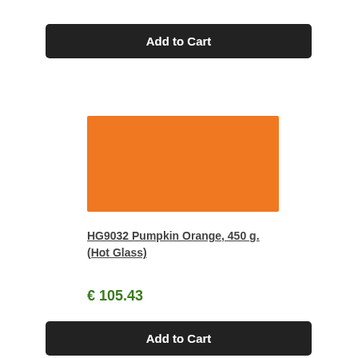Add to Cart
[Figure (illustration): A solid orange/pumpkin-colored rectangular swatch representing the product color HG9032 Pumpkin Orange]
HG9032 Pumpkin Orange, 450 g. (Hot Glass)
€ 105.43
Add to Cart